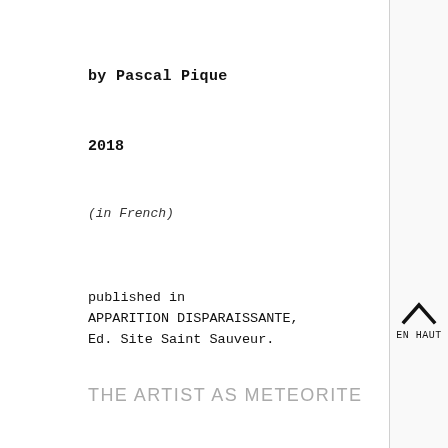by Pascal Pique
2018
(in French)
published in
APPARITION DISPARAISSANTE,
Ed. Site Saint Sauveur.
EN HAUT
THE ARTIST AS METEORITE